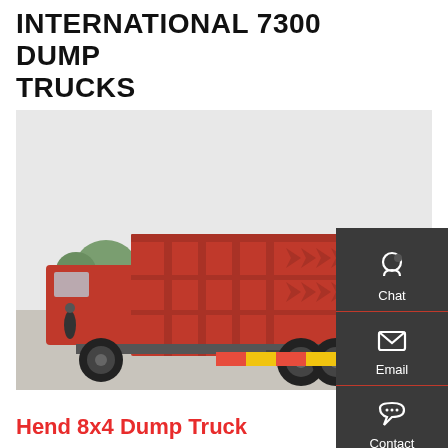INTERNATIONAL 7300 DUMP TRUCKS
[Figure (photo): Red International 7300 dump truck photographed from the rear-left angle in an industrial yard. The truck has a large red dump bed with reinforced chevron-pattern panels, six wheels visible, and a red/yellow striped rear bumper. Background includes other vehicles and a warehouse building.]
Hend 8x4 Dump Truck